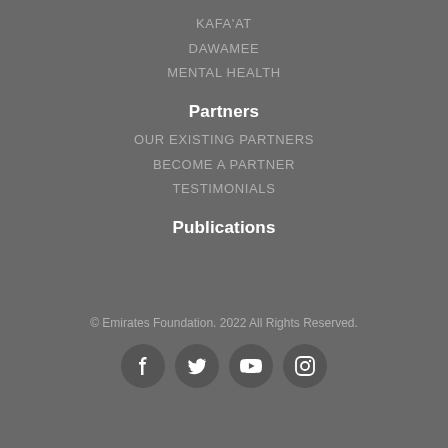KAFA'AT
DAWAMEE
MENTAL HEALTH
Partners
OUR EXISTING PARTNERS
BECOME A PARTNER
TESTIMONIALS
Publications
© Emirates Foundation. 2022 All Rights Reserved.
[Figure (other): Social media icons row: Facebook, Twitter, YouTube, Instagram]